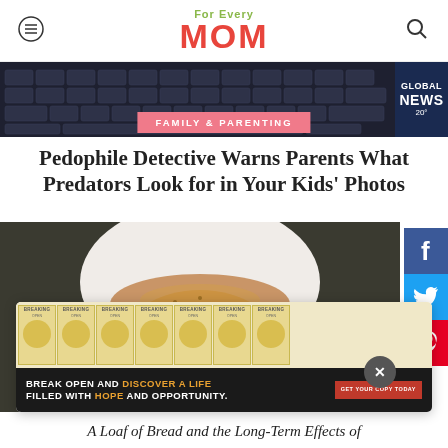For Every MOM
[Figure (screenshot): Keyboard and Global News background banner image]
FAMILY & PARENTING
Pedophile Detective Warns Parents What Predators Look for in Your Kids' Photos
[Figure (photo): Person in white shirt holding a loaf of artisan bread broken open, showing interior crumb structure. Social sharing buttons for Facebook, Twitter, Pinterest on the right side.]
[Figure (infographic): Advertisement overlay showing multiple copies of book 'Breaking Open' with text: BREAK OPEN AND DISCOVER A LIFE FILLED WITH HOPE AND OPPORTUNITY. GET YOUR COPY TODAY.]
A Loaf of Bread and the Long-Term Effects of